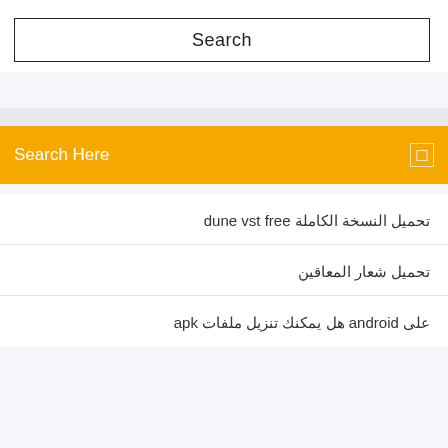[Figure (screenshot): Search input box with the text 'Search' centered inside a bordered rectangle]
Search Here
تحميل النسخة الكاملة dune vst free
تحميل شعار المعاقين
على android هل يمكنك تنزيل ملفات apk